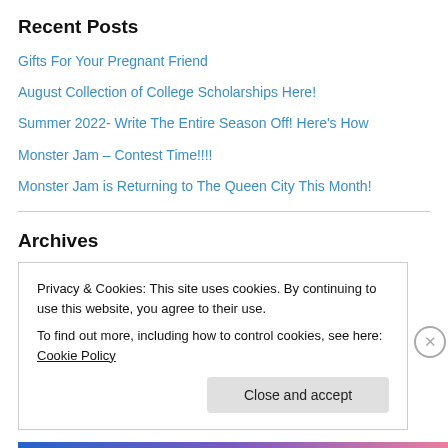Recent Posts
Gifts For Your Pregnant Friend
August Collection of College Scholarships Here!
Summer 2022- Write The Entire Season Off! Here's How
Monster Jam – Contest Time!!!!
Monster Jam is Returning to The Queen City This Month!
Archives
August 2022
July 2022
May 2022
Privacy & Cookies: This site uses cookies. By continuing to use this website, you agree to their use.
To find out more, including how to control cookies, see here: Cookie Policy
Close and accept